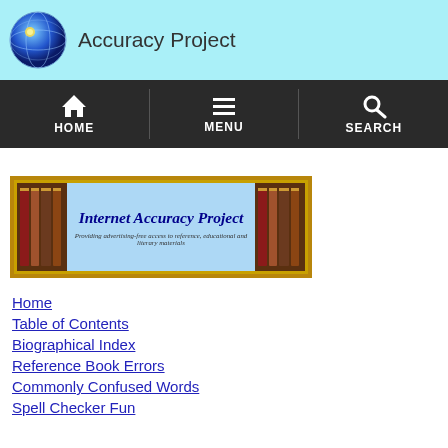Accuracy Project
[Figure (screenshot): Navigation bar with HOME, MENU, and SEARCH icons on dark background]
[Figure (illustration): Internet Accuracy Project banner with books on sides, text: Internet Accuracy Project - Providing advertising-free access to reference, educational and literary materials]
Home
Table of Contents
Biographical Index
Reference Book Errors
Commonly Confused Words
Spell Checker Fun